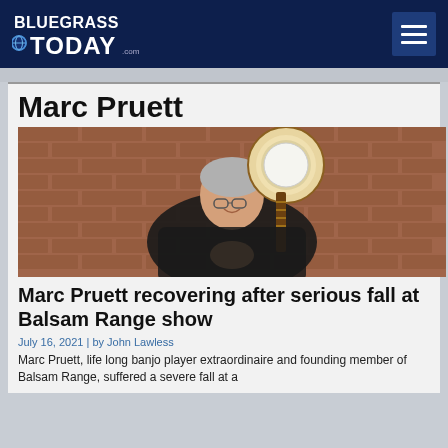Bluegrass Today
Marc Pruett
[Figure (photo): Marc Pruett smiling and holding a banjo in front of a brick wall, wearing a dark blazer]
Marc Pruett recovering after serious fall at Balsam Range show
July 16, 2021 | by John Lawless
Marc Pruett, life long banjo player extraordinaire and founding member of Balsam Range, suffered a severe fall at a